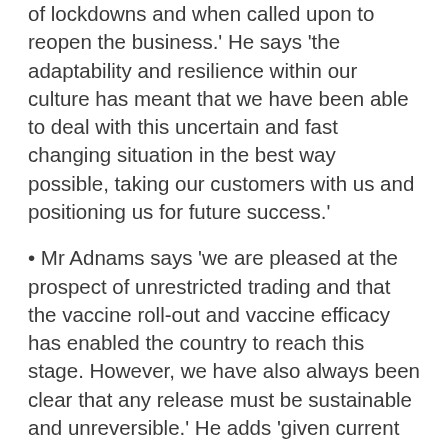of lockdowns and when called upon to reopen the business.' He says 'the adaptability and resilience within our culture has meant that we have been able to deal with this uncertain and fast changing situation in the best way possible, taking our customers with us and positioning us for future success.'
• Mr Adnams says 'we are pleased at the prospect of unrestricted trading and that the vaccine roll-out and vaccine efficacy has enabled the country to reach this stage. However, we have also always been clear that any release must be sustainable and unreversible.' He adds 'given current data and the 'mood music' coming from Government and the medical community, we will continue to take a cautious stance to ensure the business, our staff, our pubs, and our customers are protected for the future as we deal with those ongoing uncertainties.' The company is 'cautiously optimistic that the worst of the pandemic is